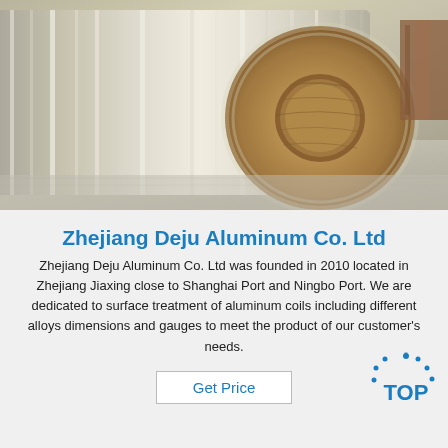[Figure (photo): Close-up photograph of a large roll of aluminum coil/foil, showing the shiny metallic surface wound around a cardboard core, stored in a warehouse setting]
Zhejiang Deju Aluminum Co. Ltd
Zhejiang Deju Aluminum Co. Ltd was founded in 2010 located in Zhejiang Jiaxing close to Shanghai Port and Ningbo Port. We are dedicated to surface treatment of aluminum coils including different alloys dimensions and gauges to meet the product of our customer's needs.
Get Price